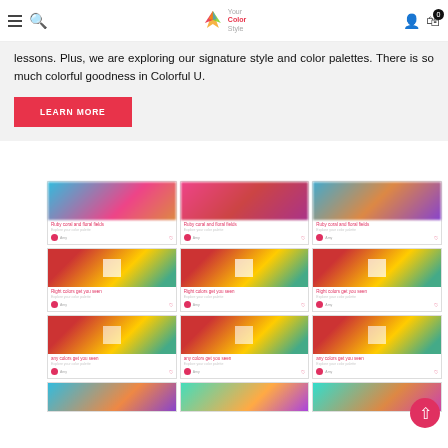Your Color Style navigation header
lessons. Plus, we are exploring our signature style and color palettes. There is so much colorful goodness in Colorful U.
LEARN MORE
[Figure (screenshot): Grid of blurred product/lesson card thumbnails from the Your Color Style website, showing 3 columns and 4 rows of cards with pink titles, avatar icons, and heart icons]